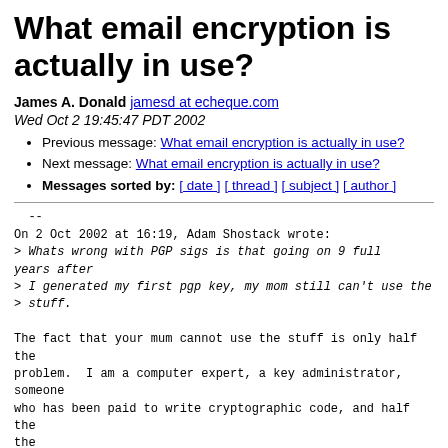What email encryption is actually in use?
James A. Donald jamesd at echeque.com
Wed Oct 2 19:45:47 PDT 2002
Previous message: What email encryption is actually in use?
Next message: What email encryption is actually in use?
Messages sorted by: [ date ] [ thread ] [ subject ] [ author ]
--
On 2 Oct 2002 at 16:19, Adam Shostack wrote:
> Whats wrong with PGP sigs is that going on 9 full years after
> I generated my first pgp key, my mom still can't use the
> stuff.

The fact that your mum cannot use the stuff is only half the
problem.  I am a computer expert, a key administrator, someone
who has been paid to write cryptographic code, and half the